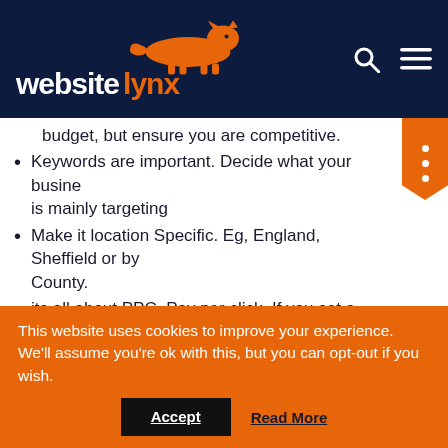[Figure (logo): Website Lynx logo: orange lynx animal silhouette above the text 'website lynx' with search and hamburger menu icons on the right, on a dark navy background]
budget, but ensure you are competitive.
Keywords are important. Decide what your business is mainly targeting
Make it location Specific. Eg, England, Sheffield or by County.
its all about PPC  Pay per click. If you set a monthly budget of £1, you can set it so you can get 10 clicks per £1 at 10p each click
Report building is built in.
Google has an anti fraud system designed to prevent
This website uses cookies to improve your experience. We'll assume you're ok with this, but you can opt-out if you wish.
Accept  Read More